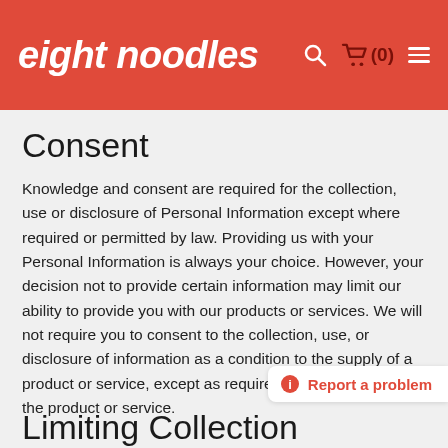eight noodles
Consent
Knowledge and consent are required for the collection, use or disclosure of Personal Information except where required or permitted by law. Providing us with your Personal Information is always your choice. However, your decision not to provide certain information may limit our ability to provide you with our products or services. We will not require you to consent to the collection, use, or disclosure of information as a condition to the supply of a product or service, except as required to be able to supply the product or service.
Limiting Collection